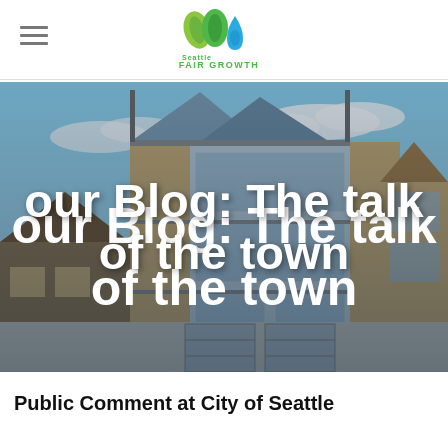Seattle Fair Growth
[Figure (photo): Exterior of a modern multi-story residential building with glass and wood facade, blue sky background, with text overlay 'our Blog: The talk of the town']
our Blog: The talk of the town
Public Comment at City of Seattle